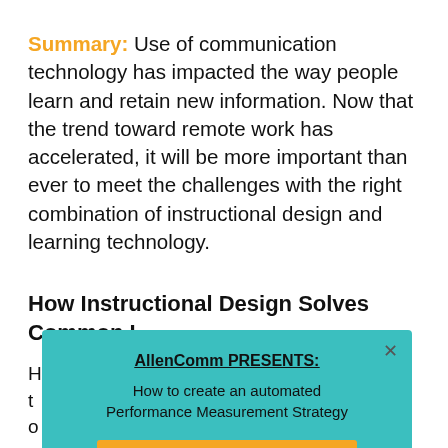Summary: Use of communication technology has impacted the way people learn and retain new information. Now that the trend toward remote work has accelerated, it will be more important than ever to meet the challenges with the right combination of instructional design and learning technology.
How Instructional Design Solves Common L...
H... t... o...
[Figure (other): Popup modal with teal background. Title: 'AllenComm PRESENTS:' (underlined, bold). Subtitle: 'How to create an automated Performance Measurement Strategy'. Button: 'REGISTER NOW!' in orange/yellow. Close X in top right.]